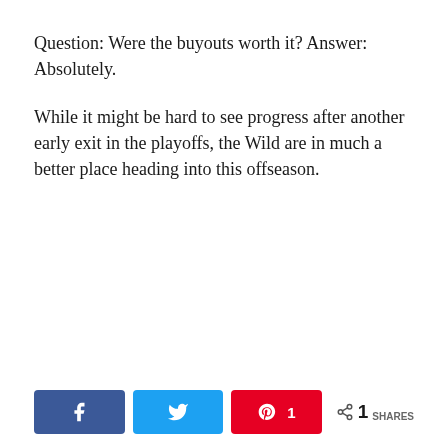Question: Were the buyouts worth it? Answer: Absolutely.
While it might be hard to see progress after another early exit in the playoffs, the Wild are in much a better place heading into this offseason.
[Figure (other): Social share buttons: Facebook (blue), Twitter (light blue), Pinterest with count of 1 (red), and a share icon showing 1 SHARES total]